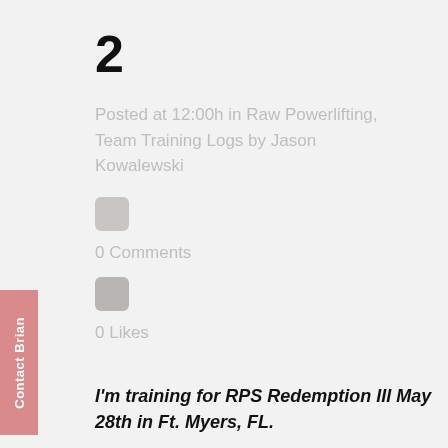2
Posted at 12:00h in Raw Powerlifting, Team Training Logs by Jason Kowalewski
0 Comments
0 Likes
I'm training for RPS Redemption III May 28th in Ft. Myers, FL.
[wa-wps]